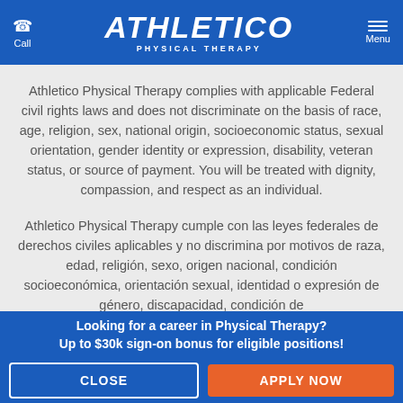Athletico Physical Therapy — Call | Menu
Athletico Physical Therapy complies with applicable Federal civil rights laws and does not discriminate on the basis of race, age, religion, sex, national origin, socioeconomic status, sexual orientation, gender identity or expression, disability, veteran status, or source of payment. You will be treated with dignity, compassion, and respect as an individual.
Athletico Physical Therapy cumple con las leyes federales de derechos civiles aplicables y no discrimina por motivos de raza, edad, religión, sexo, origen nacional, condición socioeconómica, orientación sexual, identidad o expresión de género, discapacidad, condición de
Looking for a career in Physical Therapy?
Up to $30k sign-on bonus for eligible positions!
CLOSE | APPLY NOW